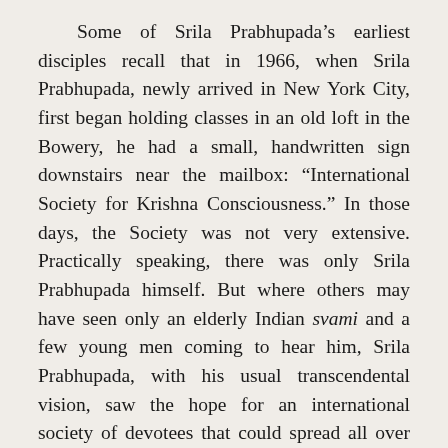Some of Srila Prabhupada's earliest disciples recall that in 1966, when Srila Prabhupada, newly arrived in New York City, first began holding classes in an old loft in the Bowery, he had a small, handwritten sign downstairs near the mailbox: “International Society for Krishna Consciousness.” In those days, the Society was not very extensive. Practically speaking, there was only Srila Prabhupada himself. But where others may have seen only an elderly Indian svami and a few young men coming to hear him, Srila Prabhupada, with his usual transcendental vision, saw the hope for an international society of devotees that could spread all over the world.
A devotee poet has sung, tandera carana sevi bhakta-sane vasa: “Let me serve at the feet of the gosvamis—the predecessor spiritual masters—and let me always associate with devotees.” This is the